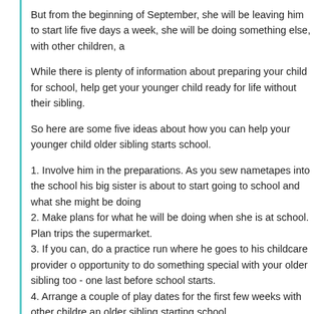But from the beginning of September, she will be leaving him to start life five days a week, she will be doing something else, with other children, a
While there is plenty of information about preparing your child for school, help get your younger child ready for life without their sibling.
So here are some five ideas about how you can help your younger child older sibling starts school.
1. Involve him in the preparations. As you sew nametapes into the school his big sister is about to start going to school and what she might be doing
2. Make plans for what he will be doing when she is at school. Plan trips the supermarket.
3. If you can, do a practice run where he goes to his childcare provider o opportunity to do something special with your older sibling too - one last before school starts.
4. Arrange a couple of play dates for the first few weeks with other childre an older sibling starting school.
5. Plan some simple, but special, activities for when she gets home from might be tired after a busy day learning and doing new things, but involvi make the dinner, baking a cake or doing a jigsaw together will help re-es them how much they enjoy each other's company.
What advice would you add to help your younger child get ready for their